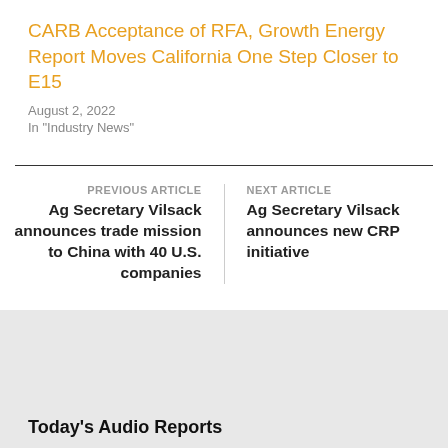CARB Acceptance of RFA, Growth Energy Report Moves California One Step Closer to E15
August 2, 2022
In "Industry News"
PREVIOUS ARTICLE
Ag Secretary Vilsack announces trade mission to China with 40 U.S. companies
NEXT ARTICLE
Ag Secretary Vilsack announces new CRP initiative
Today's Audio Reports